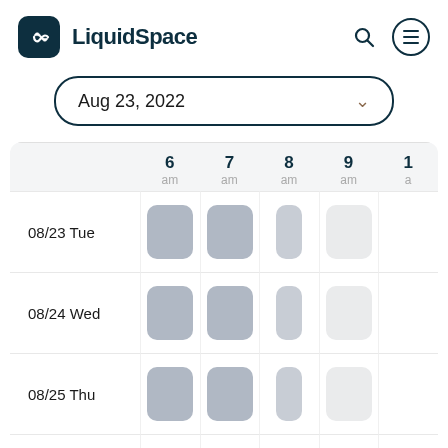[Figure (logo): LiquidSpace logo: dark teal rounded square with white infinity/loop icon, followed by bold text 'LiquidSpace']
Aug 23, 2022
|  | 6 am | 7 am | 8 am | 9 am | 10 a... |
| --- | --- | --- | --- | --- | --- |
| 08/23 Tue | [slot] | [slot] | [half-slot] | [empty] |  |
| 08/24 Wed | [slot] | [slot] | [half-slot] | [empty] |  |
| 08/25 Thu | [slot] | [slot] | [half-slot] | [empty] |  |
| 08/26 Fri | [slot] | [slot] | [half-slot] |  |  |